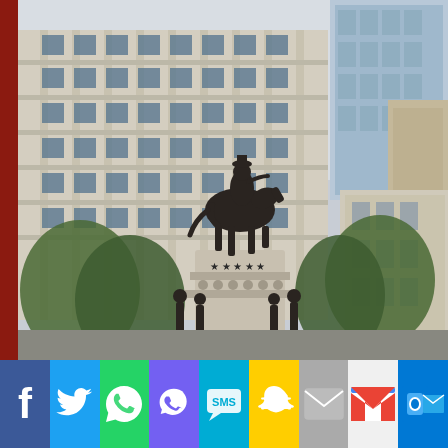[Figure (photo): Urban outdoor scene showing an equestrian statue monument on a tall cylindrical pedestal with smaller bronze figures at the base, surrounded by trees, with large modern office buildings and a classical building in the background. A dark red vertical bar appears on the left edge.]
[Figure (infographic): Social media sharing buttons bar at the bottom: Facebook (blue), Twitter (light blue), WhatsApp (green), Viber (purple), SMS (teal), Snapchat (yellow), Email (gray), Gmail (white/red M logo), Outlook (blue with envelope icon)]